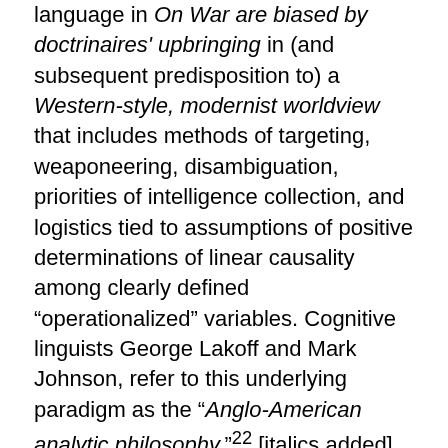language in On War are biased by doctrinaires' upbringing in (and subsequent predisposition to) a Western-style, modernist worldview that includes methods of targeting, weaponeering, disambiguation, priorities of intelligence collection, and logistics tied to assumptions of positive determinations of linear causality among clearly defined “operationalized” variables. Cognitive linguists George Lakoff and Mark Johnson, refer to this underlying paradigm as the “Anglo-American analytic philosophy.”²² [italics added]
Some philosophers use popular modern theories such as quantum physics, complexity, goal displacement, and the latest “ism” of the social sciences to feed a narrative that the COG’s theoretical foundations—reductive logic, determinism, economic functionalism, and linear causality—are obsolete.²³ Some argue these ideas cannot account for the complexity of an OE—that linear